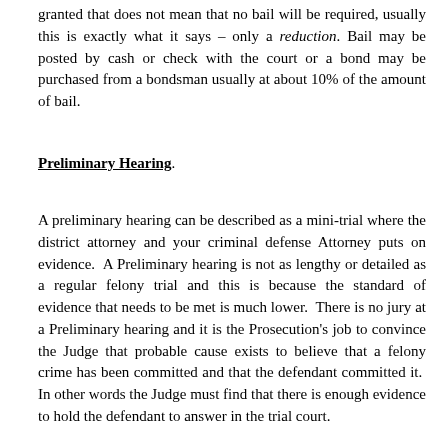granted that does not mean that no bail will be required, usually this is exactly what it says – only a reduction. Bail may be posted by cash or check with the court or a bond may be purchased from a bondsman usually at about 10% of the amount of bail.
Preliminary Hearing.
A preliminary hearing can be described as a mini-trial where the district attorney and your criminal defense Attorney puts on evidence. A Preliminary hearing is not as lengthy or detailed as a regular felony trial and this is because the standard of evidence that needs to be met is much lower. There is no jury at a Preliminary hearing and it is the Prosecution's job to convince the Judge that probable cause exists to believe that a felony crime has been committed and that the defendant committed it. In other words the Judge must find that there is enough evidence to hold the defendant to answer in the trial court.